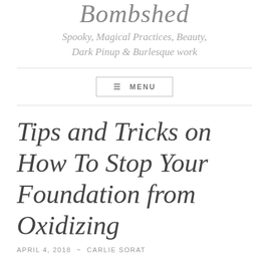Bombshed
Spooky, Magical Practices, Beauty, Dark Pinup & Burlesque work
Tips and Tricks on How To Stop Your Foundation from Oxidizing
APRIL 4, 2018 ~ CARLIE SORAT